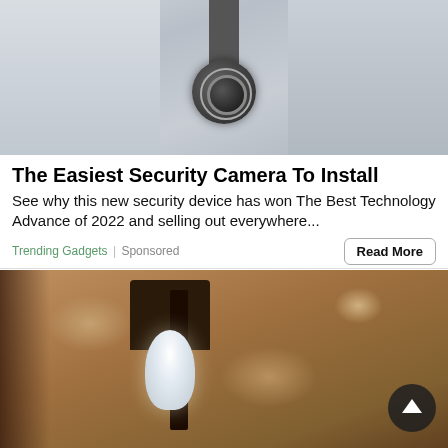[Figure (photo): Outdoor security camera mounted on a wall bracket near a house entrance, showing a dome-style PTZ camera with LED ring]
The Easiest Security Camera To Install
See why this new security device has won The Best Technology Advance of 2022 and selling out everywhere...
Trending Gadgets | Sponsored
Read More
[Figure (photo): A white LED light bulb inserted into an outdoor wall lantern/lamp fixture mounted on a textured stucco wall, with a scroll-up button overlay]